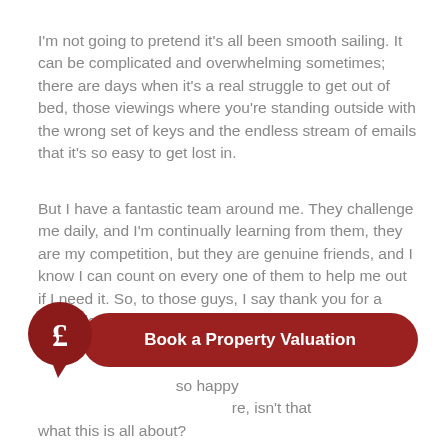I'm not going to pretend it's all been smooth sailing. It can be complicated and overwhelming sometimes; there are days when it's a real struggle to get out of bed, those viewings where you're standing outside with the wrong set of keys and the endless stream of emails that it's so easy to get lost in.
But I have a fantastic team around me. They challenge me daily, and I'm continually learning from them, they are my competition, but they are genuine friends, and I know I can count on every one of them to help me out if I need it. So, to those guys, I say thank you for a fantastic six months, you helped pull me out of a very depressing place.
[Figure (other): A dark red circular icon with a pound sterling (£) symbol and a speech bubble tail, next to a dark red 'Book a Property Valuation' button]
...so happy ...re, isn't that what this is all about?